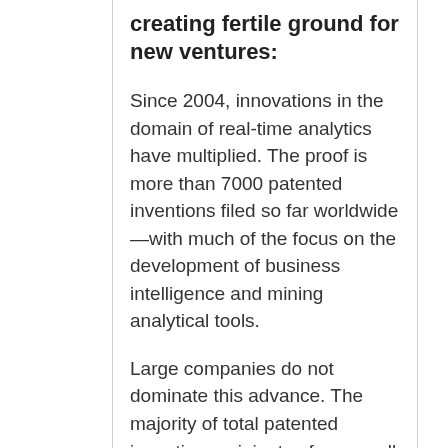creating fertile ground for new ventures:
Since 2004, innovations in the domain of real-time analytics have multiplied. The proof is more than 7000 patented inventions filed so far worldwide—with much of the focus on the development of business intelligence and mining analytical tools.
Large companies do not dominate this advance. The majority of total patented inventions originates from small startups.
Clearly, there is considerable